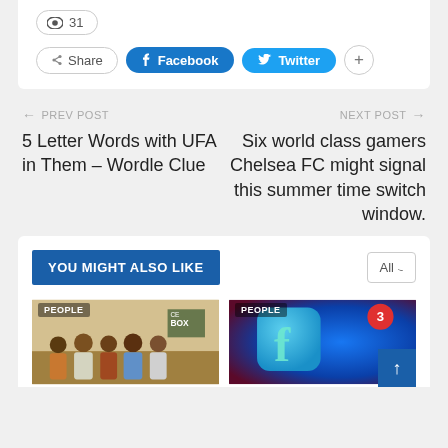👁 31
Share  Facebook  Twitter  +
← PREV POST
5 Letter Words with UFA in Them – Wordle Clue
NEXT POST →
Six world class gamers Chelsea FC might signal this summer time switch window.
YOU MIGHT ALSO LIKE
All ∨
[Figure (photo): Group of people standing together indoors]
[Figure (photo): Facebook app icon with notification badge showing number 3]